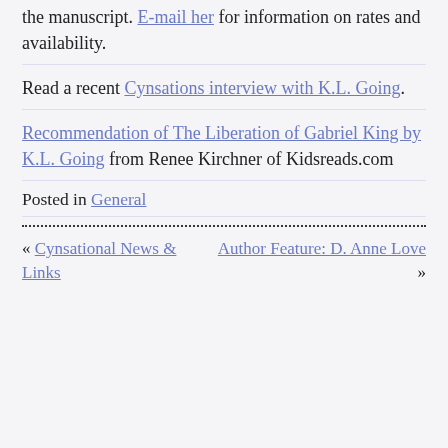the manuscript. E-mail her for information on rates and availability.
Read a recent Cynsations interview with K.L. Going.
Recommendation of The Liberation of Gabriel King by K.L. Going from Renee Kirchner of Kidsreads.com
Posted in General
« Cynsational News & Links    Author Feature: D. Anne Love »